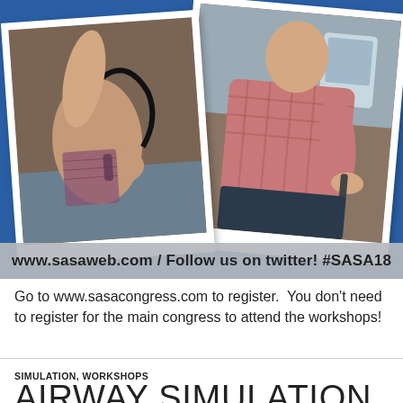[Figure (photo): Banner image showing two polaroid-style photos on a blue background. Left photo: person holding endoscopy/airway device. Right photo: person in pink shirt working with medical equipment. Bottom overlay bar reads: www.sasaweb.com / Follow us on twitter! #SASA18]
Go to www.sasacongress.com to register.  You don't need to register for the main congress to attend the workshops!
SIMULATION, WORKSHOPS
AIRWAY SIMULATION